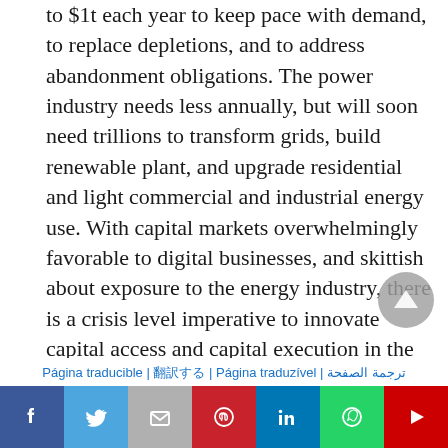to $1t each year to keep pace with demand, to replace depletions, and to address abandonment obligations. The power industry needs less annually, but will soon need trillions to transform grids, build renewable plant, and upgrade residential and light commercial and industrial energy use. With capital markets overwhelmingly favorable to digital businesses, and skittish about exposure to the energy industry, there is a crisis level imperative to innovate capital access and capital execution in the sector.
Capital access is tricky, as capital markets are just
Página traducible | traducir | Página traduzível | ترجمة الصفحة